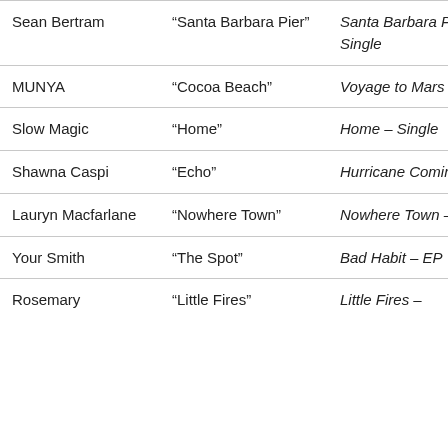| Sean Bertram | “Santa Barbara Pier” | Santa Barbara Pier – Single |
| MUNYA | “Cocoa Beach” | Voyage to Mars |
| Slow Magic | “Home” | Home – Single |
| Shawna Caspi | “Echo” | Hurricane Coming |
| Lauryn Macfarlane | “Nowhere Town” | Nowhere Town – Single |
| Your Smith | “The Spot” | Bad Habit – EP |
| Rosemary | “Little Fires” | Little Fires – Single |